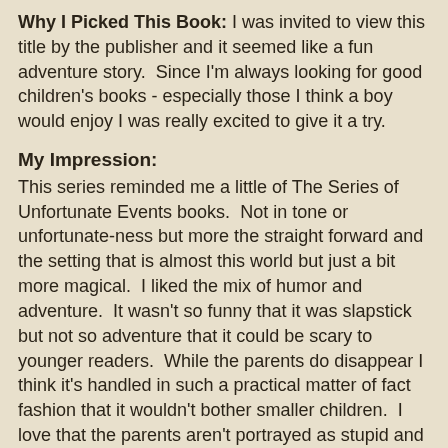Why I Picked This Book: I was invited to view this title by the publisher and it seemed like a fun adventure story.  Since I'm always looking for good children's books - especially those I think a boy would enjoy I was really excited to give it a try.
My Impression:
This series reminded me a little of The Series of Unfortunate Events books.  Not in tone or unfortunate-ness but more the straight forward and the setting that is almost this world but just a bit more magical.  I liked the mix of humor and adventure.  It wasn't so funny that it was slapstick but not so adventure that it could be scary to younger readers.  While the parents do disappear I think it's handled in such a practical matter of fact fashion that it wouldn't bother smaller children.  I love that the parents aren't portrayed as stupid and that Oliver genuinely loves them.  The illustrations are adorable but not cutesy.  The personality of each character is captured but there isn't the caricature feel I've seen in a number of illustrated books recently.  This would definitely read better in book form than Kindle so you can enjoy the illustrations to their fullest.  The chapters are short which